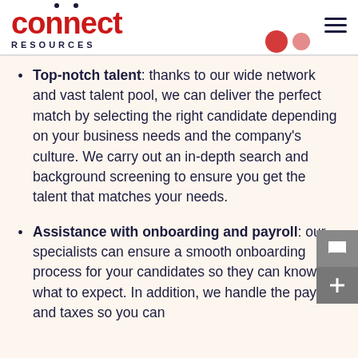connect RESOURCES
Top-notch talent: thanks to our wide network and vast talent pool, we can deliver the perfect match by selecting the right candidate depending on your business needs and the company's culture. We carry out an in-depth search and background screening to ensure you get the talent that matches your needs.
Assistance with onboarding and payroll: our specialists can ensure a smooth onboarding process for your candidates so they can know what to expect. In addition, we handle the payroll and taxes so you can